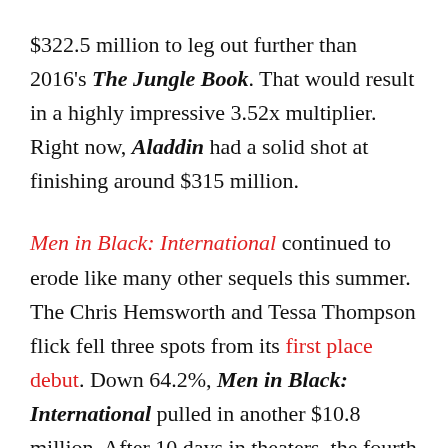$322.5 million to leg out further than 2016's The Jungle Book. That would result in a highly impressive 3.52x multiplier. Right now, Aladdin had a solid shot at finishing around $315 million.
Men in Black: International continued to erode like many other sequels this summer. The Chris Hemsworth and Tessa Thompson flick fell three spots from its first place debut. Down 64.2%, Men in Black: International pulled in another $10.8 million. After 10 days in theaters, the fourth chapter is up to $52.7 million. That's slightly more than what the first two films made in just their opening weekends. Right now, Men in Black: International may see wind up with $70 million